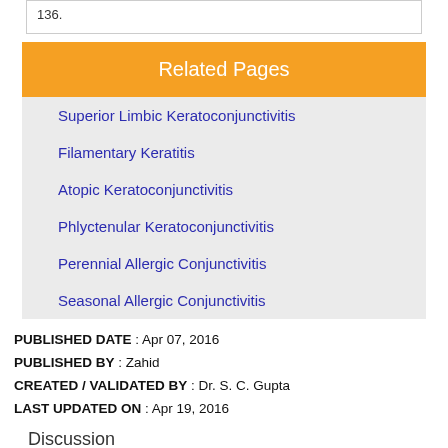136.
Related Pages
Superior Limbic Keratoconjunctivitis
Filamentary Keratitis
Atopic Keratoconjunctivitis
Phlyctenular Keratoconjunctivitis
Perennial Allergic Conjunctivitis
Seasonal Allergic Conjunctivitis
PUBLISHED DATE : Apr 07, 2016
PUBLISHED BY : Zahid
CREATED / VALIDATED BY : Dr. S. C. Gupta
LAST UPDATED ON : Apr 19, 2016
Discussion